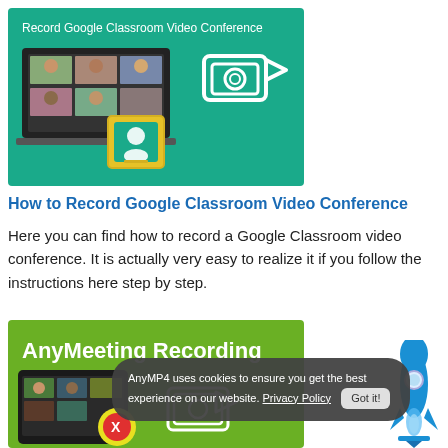[Figure (illustration): Banner image with teal/green background showing 'Record Google Classroom Video Conference' text, a laptop with video conference grid, a Google Classroom icon (yellow border, green background with person icon), and a white video camera icon]
How to Record Google Classroom Video Conference
Here you can find how to record a Google Classroom video conference. It is actually very easy to realize it if you follow the instructions here step by step.
[Figure (illustration): Bottom banner with green background showing 'AnyMeeting Recording' text, a tablet with video conference grid, a colorful icon, and a camera outline icon. A cookie consent popup overlays it. A blue rocket icon is on the right side.]
AnyMP4 uses cookies to ensure you get the best experience on our website. Privacy Policy  Got it!